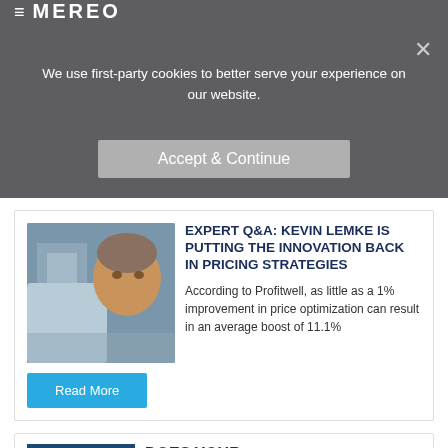We use first-party cookies to better serve your experience on our website.
EXPERT Q&A: KEVIN LEMKE IS PUTTING THE INNOVATION BACK IN PRICING STRATEGIES
According to Profitwell, as little as a 1% improvement in price optimization can result in an average boost of 11.1%
Read More
DOES YOUR